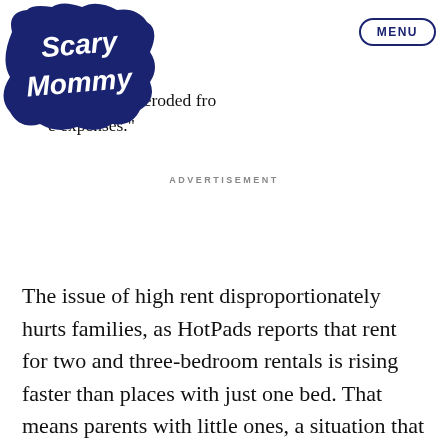[Figure (logo): Scary Mommy logo - white cursive text on dark navy cloud/bubble shape]
ld quickly be eroded fro e expenses."
MENU
ADVERTISEMENT
The issue of high rent disproportionately hurts families, as HotPads reports that rent for two and three-bedroom rentals is rising faster than places with just one bed. That means parents with little ones, a situation that usually requires an extra bedroom or two, feel the hurt in their